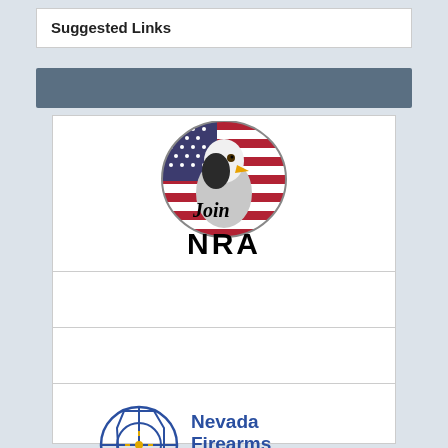Suggested Links
[Figure (logo): Join NRA logo with bald eagle and American flag in circular badge, with 'Join' in italic serif and 'NRA' in bold block letters below]
[Figure (logo): Empty card placeholder]
[Figure (logo): Empty card placeholder]
[Figure (logo): Nevada Firearms Coalition Political Action Committee logo with crosshair/Nevada state shape in blue and gold, text in blue reading Nevada Firearms Coalition and gold subtitle Political Action Committee]